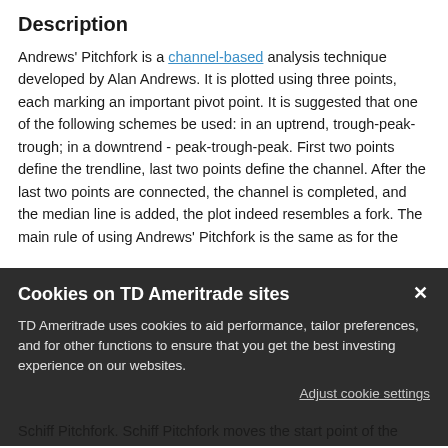Description
Andrews' Pitchfork is a channel-based analysis technique developed by Alan Andrews. It is plotted using three points, each marking an important pivot point. It is suggested that one of the following schemes be used: in an uptrend, trough-peak-trough; in a downtrend - peak-trough-peak. First two points define the trendline, last two points define the channel. After the last two points are connected, the channel is completed, and the median line is added, the plot indeed resembles a fork. The main rule of using Andrews' Pitchfork is the same as for the
[Figure (screenshot): Cookie consent modal with dark background. Title: 'Cookies on TD Ameritrade sites'. Body text: 'TD Ameritrade uses cookies to aid performance, tailor preferences, and for other functions to ensure that you get the best investing experience on our websites.' Link: 'Adjust cookie settings'. Close button (X) in top right.]
Schiff Pitchfork. Schiff Pitchfork moves the start point of the